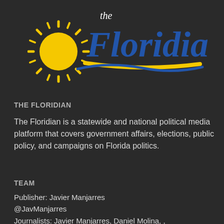[Figure (logo): The Floridian logo: sun rays graphic in gold/yellow on the left, with 'the' in small white serif text above 'Floridian' in large blue serif text, with a gold curved swoosh underline and a blue wave element]
THE FLORIDIAN
The Floridian is a statewide and national political media platform that covers government affairs, elections, public policy, and campaigns on Florida politics.
TEAM
Publisher: Javier Manjarres
@JavManjarres
Journalists: Javier Manjarres, Daniel Molina, , Isabel Webb Carey, Jackson Bakich, James McCool, Michelle Rosenberg, Yendi Alvarez, and